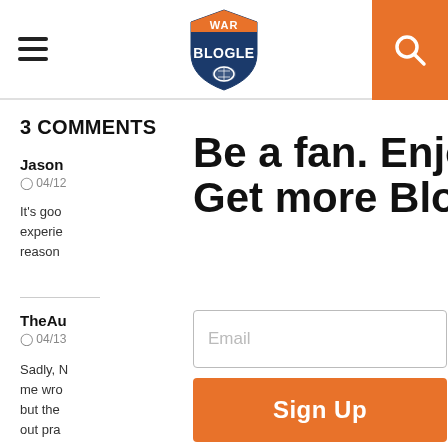War Blogle - navigation header with hamburger menu, logo, and search button
3 COMMENTS
Jason
04/12
It's goo experie reason
TheAu
04/13
Sadly, N me wro but the out pra
Be a fan. Enjoy life. Get more Blogle.
Email
Sign Up